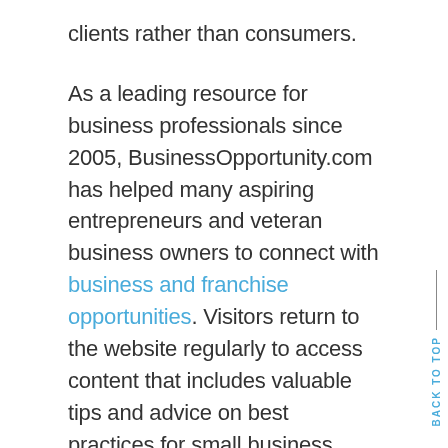clients rather than consumers.
As a leading resource for business professionals since 2005, BusinessOpportunity.com has helped many aspiring entrepreneurs and veteran business owners to connect with business and franchise opportunities. Visitors return to the website regularly to access content that includes valuable tips and advice on best practices for small business management.
“The website is a great tool for anyone that currently owns a small business or is looking to start one,” says Michael Rupkalvis, co-owner of BusinessOpportunity.com. “This is a platform